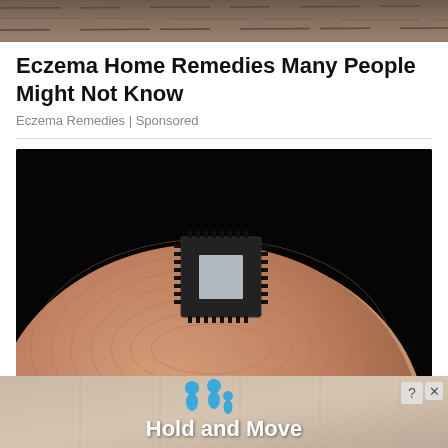[Figure (photo): Top cropped photo showing a wooden texture surface]
Eczema Home Remedies Many People Might Not Know
Eczema Remedies | Sponsored
[Figure (photo): A tiny microchip placed on the tip of a human finger, close-up photograph with dark background]
[Figure (photo): Advertisement banner with blue people icons and text 'Hold and Move']